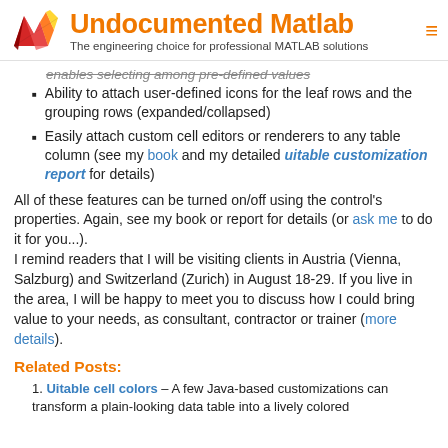Undocumented Matlab – The engineering choice for professional MATLAB solutions
enables selecting among pre-defined values (cut/strikethrough)
Ability to attach user-defined icons for the leaf rows and the grouping rows (expanded/collapsed)
Easily attach custom cell editors or renderers to any table column (see my book and my detailed uitable customization report for details)
All of these features can be turned on/off using the control's properties. Again, see my book or report for details (or ask me to do it for you...). I remind readers that I will be visiting clients in Austria (Vienna, Salzburg) and Switzerland (Zurich) in August 18-29. If you live in the area, I will be happy to meet you to discuss how I could bring value to your needs, as consultant, contractor or trainer (more details).
Related Posts:
Uitable cell colors – A few Java-based customizations can transform a plain-looking data table into a lively colored